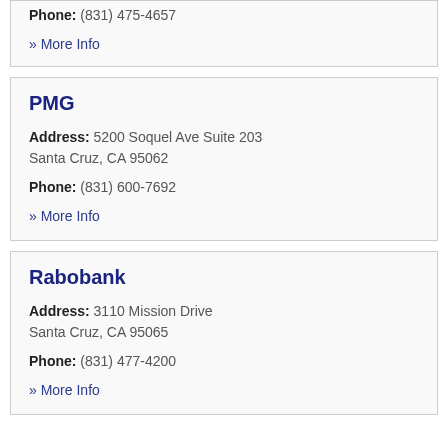Phone: (831) 475-4657
» More Info
PMG
Address: 5200 Soquel Ave Suite 203 Santa Cruz, CA 95062
Phone: (831) 600-7692
» More Info
Rabobank
Address: 3110 Mission Drive Santa Cruz, CA 95065
Phone: (831) 477-4200
» More Info